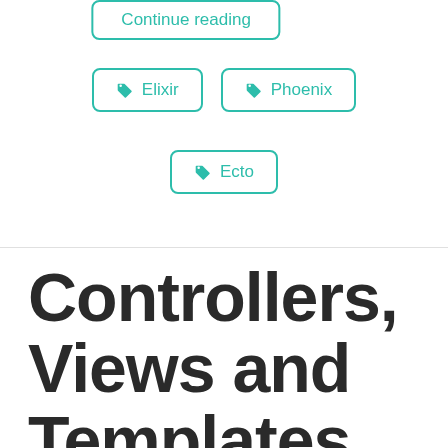Continue reading
Elixir
Phoenix
Ecto
Controllers, Views and Templates